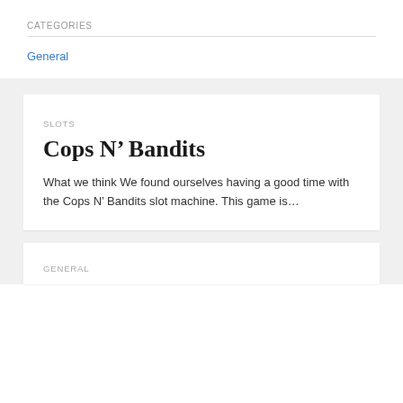CATEGORIES
General
SLOTS
Cops N’ Bandits
What we think We found ourselves having a good time with the Cops N’ Bandits slot machine. This game is…
GENERAL